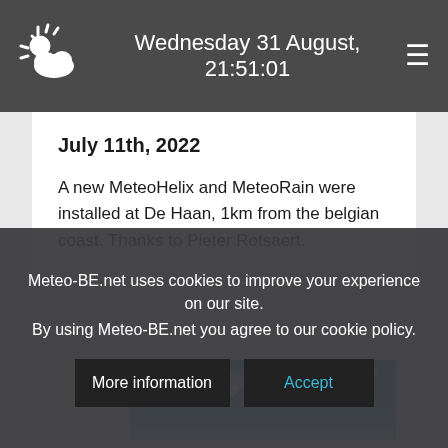Wednesday 31 August, 21:51:01
July 11th, 2022
A new MeteoHelix and MeteoRain were installed at De Haan, 1km from the belgian coast. Thanks to Pieter Rotsaert.
[Figure (photo): Blue sky with scattered clouds over a coastal area]
Meteo-BE.net uses cookies to improve your experience on our site.
By using Meteo-BE.net you agree to our cookie policy.